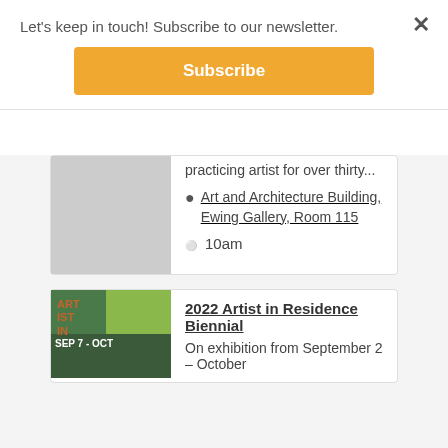Let's keep in touch! Subscribe to our newsletter.
Subscribe
practicing artist for over thirty...
Art and Architecture Building, Ewing Gallery, Room 115
10am
2022 Artist in Residence Biennial
On exhibition from September 2 – October